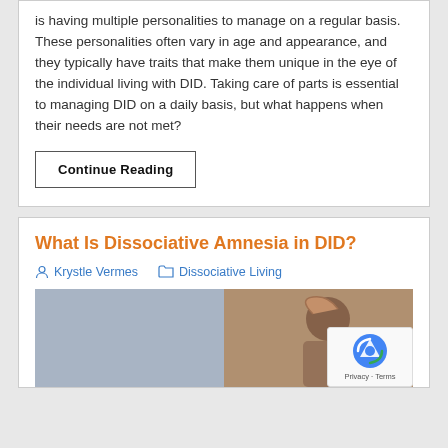is having multiple personalities to manage on a regular basis. These personalities often vary in age and appearance, and they typically have traits that make them unique in the eye of the individual living with DID. Taking care of parts is essential to managing DID on a daily basis, but what happens when their needs are not met?
Continue Reading
What Is Dissociative Amnesia in DID?
Krystle Vermes   Dissociative Living
[Figure (photo): Photo of a woman holding her head, split image with blurred indoor background on left and a woman with hand on forehead on right]